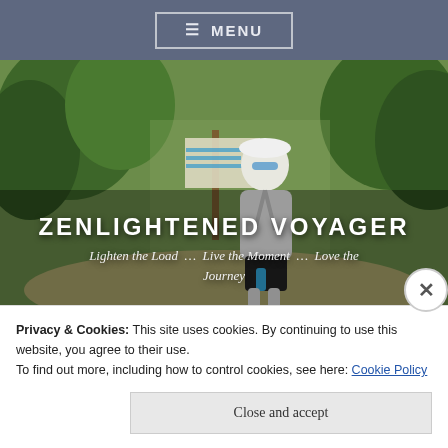≡ MENU
[Figure (photo): Hero image of a trail runner/hiker wearing a white jacket, sunglasses, and a hydration pack, posing in front of a 'YOU ARE HERE!' trail sign surrounded by green trees in a sunny outdoor setting.]
ZENLIGHTENED VOYAGER
Lighten the Load … Live the Moment … Love the Journey
Privacy & Cookies: This site uses cookies. By continuing to use this website, you agree to their use.
To find out more, including how to control cookies, see here: Cookie Policy
Close and accept